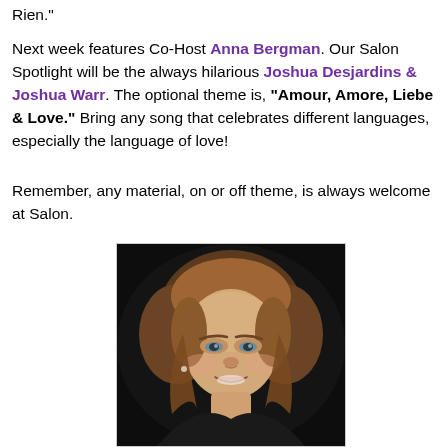Rien."
Next week features Co-Host Anna Bergman. Our Salon Spotlight will be the always hilarious Joshua Desjardins & Joshua Warr. The optional theme is, "Amour, Amore, Liebe & Love." Bring any song that celebrates different languages, especially the language of love!
Remember, any material, on or off theme, is always welcome at Salon.
[Figure (photo): Headshot of a smiling woman with medium-length auburn/blonde hair, wearing a dark top, photographed against a dark background.]